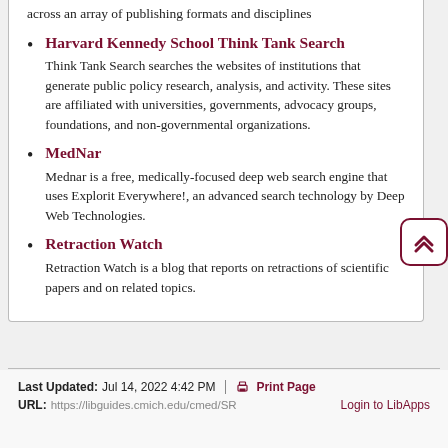across an array of publishing formats and disciplines
Harvard Kennedy School Think Tank Search
Think Tank Search searches the websites of institutions that generate public policy research, analysis, and activity. These sites are affiliated with universities, governments, advocacy groups, foundations, and non-governmental organizations.
MedNar
Mednar is a free, medically-focused deep web search engine that uses Explorit Everywhere!, an advanced search technology by Deep Web Technologies.
Retraction Watch
Retraction Watch is a blog that reports on retractions of scientific papers and on related topics.
Last Updated: Jul 14, 2022 4:42 PM | URL: https://libguides.cmich.edu/cmed/SR | Print Page
Login to LibApps